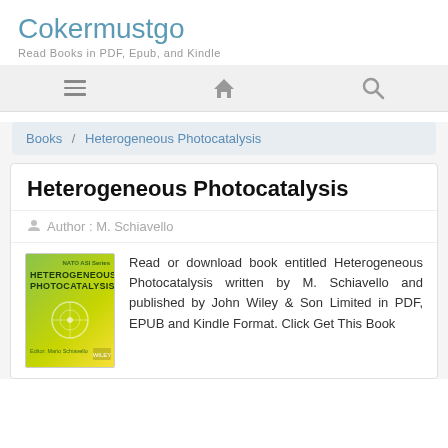Cokermustgo
Read Books in PDF, Epub, and Kindle
[Figure (infographic): Navigation bar with hamburger menu, home icon, and search icon]
Books / Heterogeneous Photocatalysis
Heterogeneous Photocatalysis
Author : M. Schiavello
[Figure (photo): Book cover of Heterogeneous Photocatalysis with green and yellow gradient background]
Read or download book entitled Heterogeneous Photocatalysis written by M. Schiavello and published by John Wiley & Son Limited in PDF, EPUB and Kindle Format. Click Get This Book